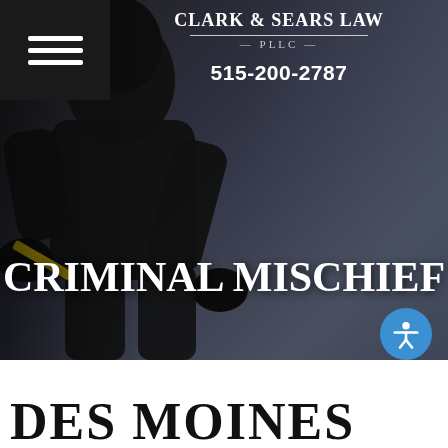[Figure (screenshot): Dark hero image showing a person in black clothing and gloves, presumably breaking into something, with a dark moody background.]
Clark & Sears Law PLLC
515-200-2787
CRIMINAL MISCHIEF
DES MOINES